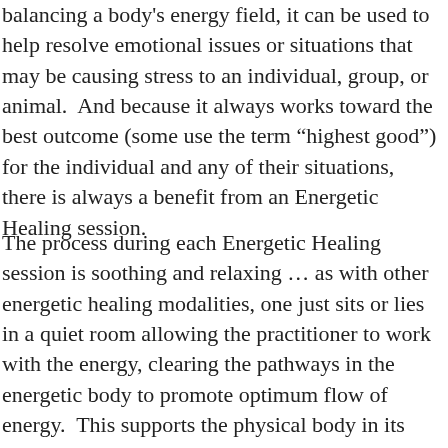balancing a body's energy field, it can be used to help resolve emotional issues or situations that may be causing stress to an individual, group, or animal.  And because it always works toward the best outcome (some use the term “highest good”) for the individual and any of their situations, there is always a benefit from an Energetic Healing session.
The process during each Energetic Healing session is soothing and relaxing … as with other energetic healing modalities, one just sits or lies in a quiet room allowing the practitioner to work with the energy, clearing the pathways in the energetic body to promote optimum flow of energy.  This supports the physical body in its efforts to heal itself.  The client may feel sensations during the session (I sometimes feel a “pulling” when negative energy is removed), may feel “floaty” and lightheaded, or may feel nothing